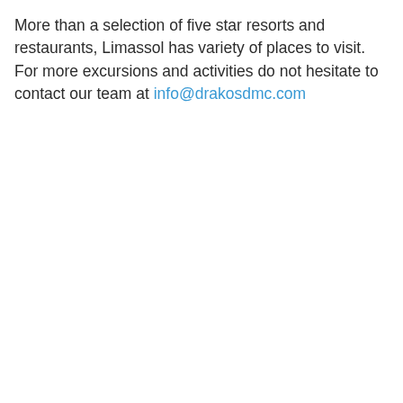More than a selection of five star resorts and restaurants, Limassol has variety of places to visit. For more excursions and activities do not hesitate to contact our team at info@drakosdmc.com